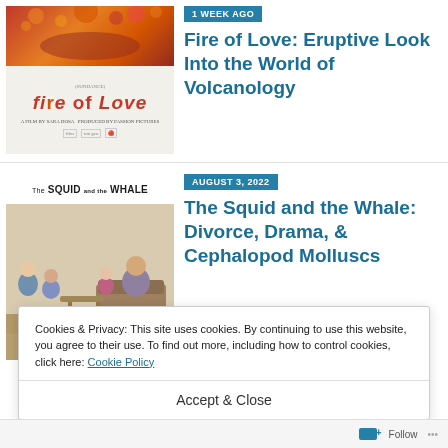[Figure (photo): Movie poster for Fire of Love — orange/red volcano eruption at top with film festival laurels, red stylized 'Fire of Love' logo at bottom on light background]
1 WEEK AGO
Fire of Love: Eruptive Look Into the World of Volcanology
[Figure (photo): Movie poster for The Squid and the Whale — title text at top, illustration/photo of family therapy scene with adults and children seated]
AUGUST 3, 2022
The Squid and the Whale: Divorce, Drama, & Cephalopod Molluscs
Cookies & Privacy: This site uses cookies. By continuing to use this website, you agree to their use. To find out more, including how to control cookies, click here: Cookie Policy
Accept & Close
Follow